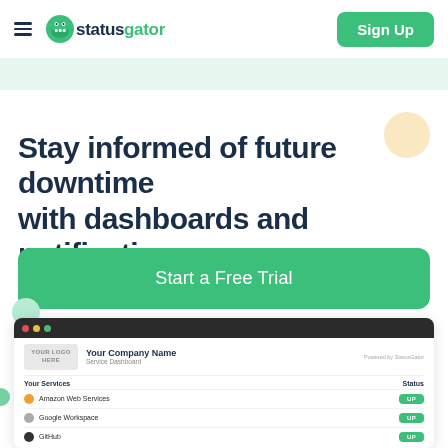StatusGator — Sign Up
Stay informed of future downtime with dashboards and notifications
Start a Free Trial
[Figure (screenshot): Screenshot of StatusGator service dashboard showing company name, logo placeholder, and status rows for Amazon Web Services, Google Workspace, and GitHub — all showing UP status badges in green.]